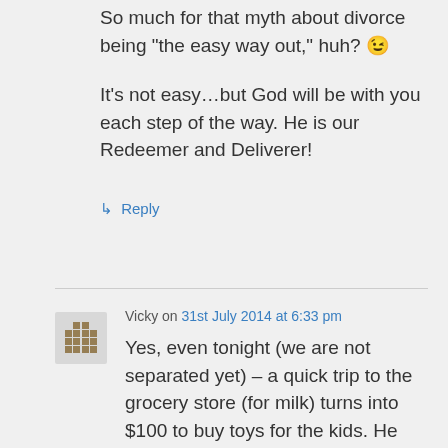So much for that myth about divorce being “the easy way out,” huh? 😉
It’s not easy…but God will be with you each step of the way. He is our Redeemer and Deliverer!
⤷ Reply
Vicky on 31st July 2014 at 6:33 pm
Yes, even tonight (we are not separated yet) – a quick trip to the grocery store (for milk) turns into $100 to buy toys for the kids. He tries to buy their love, and discipline is very heavy-handed or non-